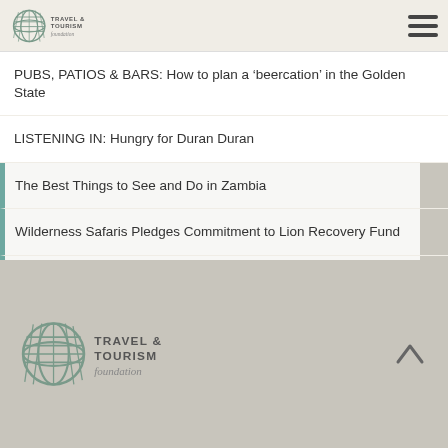Travel & Tourism Foundation
PUBS, PATIOS & BARS: How to plan a ‘beercation’ in the Golden State
LISTENING IN: Hungry for Duran Duran
The Best Things to See and Do in Zambia
Wilderness Safaris Pledges Commitment to Lion Recovery Fund
HOLY HANNAH, WHAT A DAY!
Travel & Tourism Foundation